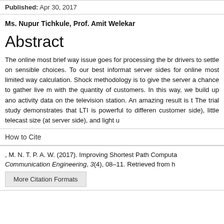Published: Apr 30, 2017
Ms. Nupur Tichkule, Prof. Amit Welekar
Abstract
The online most brief way issue goes for processing the br... drivers to settle on sensible choices. To our best informat... server sides for online most limited way calculation. Shock... methodology is to give the server a chance to gather live m... with the quantity of customers. In this way, we build up ano... activity data on the television station. An amazing result is t... The trial study demonstrates that LTI is powerful to differen... customer side), little telecast size (at server side), and light u...
How to Cite
, M. N. T. P. A. W. (2017). Improving Shortest Path Computa... Communication Engineering, 3(4), 08–11. Retrieved from h...
More Citation Formats